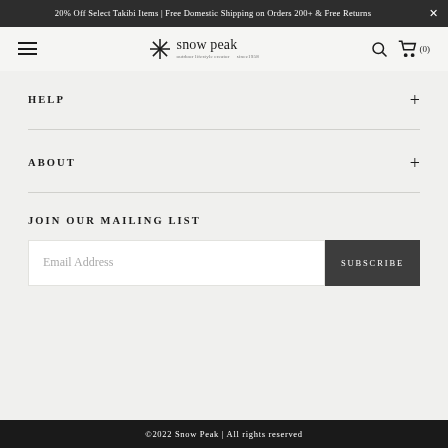20% Off Select Takibi Items | Free Domestic Shipping on Orders 200+ & Free Returns
[Figure (logo): Snow Peak logo with asterisk/snowflake symbol and text 'snow peak' with tagline]
HELP
ABOUT
JOIN OUR MAILING LIST
Email Address
SUBSCRIBE
©2022 Snow Peak | All rights reserved